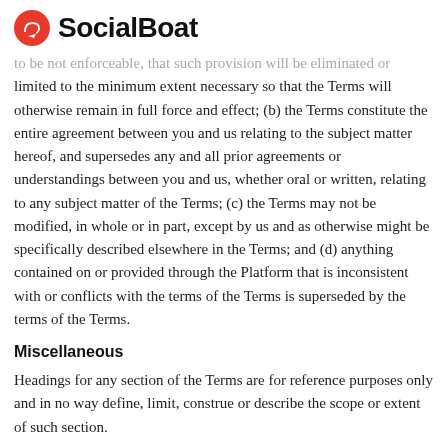SocialBoat
to be not enforceable, that such provision will be eliminated or limited to the minimum extent necessary so that the Terms will otherwise remain in full force and effect; (b) the Terms constitute the entire agreement between you and us relating to the subject matter hereof, and supersedes any and all prior agreements or understandings between you and us, whether oral or written, relating to any subject matter of the Terms; (c) the Terms may not be modified, in whole or in part, except by us and as otherwise might be specifically described elsewhere in the Terms; and (d) anything contained on or provided through the Platform that is inconsistent with or conflicts with the terms of the Terms is superseded by the terms of the Terms.
Miscellaneous
Headings for any section of the Terms are for reference purposes only and in no way define, limit, construe or describe the scope or extent of such section.